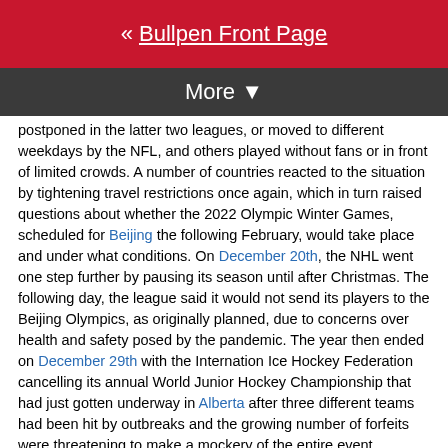« Bullpen Front Page
More ▼
postponed in the latter two leagues, or moved to different weekdays by the NFL, and others played without fans or in front of limited crowds. A number of countries reacted to the situation by tightening travel restrictions once again, which in turn raised questions about whether the 2022 Olympic Winter Games, scheduled for Beijing the following February, would take place and under what conditions. On December 20th, the NHL went one step further by pausing its season until after Christmas. The following day, the league said it would not send its players to the Beijing Olympics, as originally planned, due to concerns over health and safety posed by the pandemic. The year then ended on December 29th with the Internation Ice Hockey Federation cancelling its annual World Junior Hockey Championship that had just gotten underway in Alberta after three different teams had been hit by outbreaks and the growing number of forfeits were threatening to make a mockery of the entire event.
As the month and the year ended with the holiday season, countries around the world were reacting to a rising number of infections...